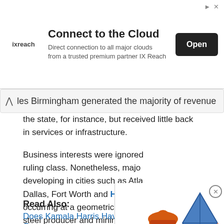[Figure (other): Advertisement banner for IX Reach cloud connectivity service with logo, text, and Open button]
les Birmingham generated the majority of revenue for the state, for instance, but received little back in services or infrastructure.
Business interests were ignored by the ruling class. Nonetheless, major cities were developing in cities such as Atlanta, Dallas, Fort Worth and Houston occurring at a geometric rate. Birmingham became a steel producer and mining town, with major population growth in the early decades of the 20th century.
Read Also:
Does Kamala Harris Have Children Of Her Own